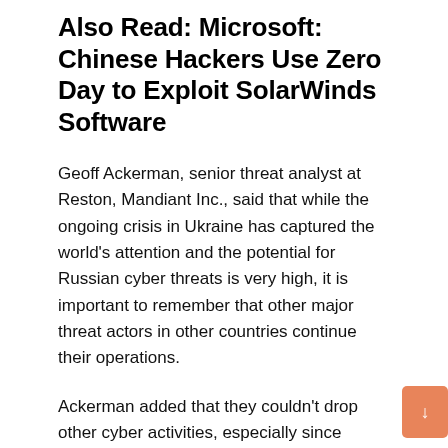Also Read: Microsoft: Chinese Hackers Use Zero Day to Exploit SolarWinds Software
Geoff Ackerman, senior threat analyst at Reston, Mandiant Inc., said that while the ongoing crisis in Ukraine has captured the world's attention and the potential for Russian cyber threats is very high, it is important to remember that other major threat actors in other countries continue their operations.
Ackerman added that they couldn't drop other cyber activities, especially since APT41's illegal activities continue to this day.
Several state agencies remain vulnerable to hackers, even as the Biden administration